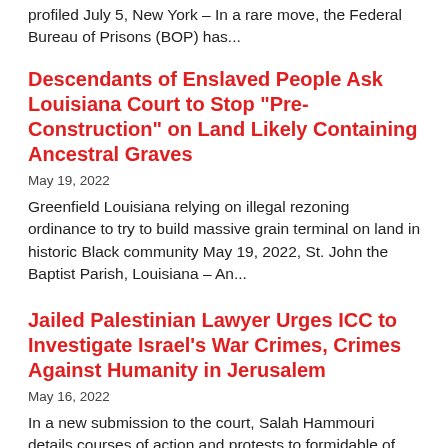profiled July 5, New York – In a rare move, the Federal Bureau of Prisons (BOP) has...
Descendants of Enslaved People Ask Louisiana Court to Stop “Pre-Construction” on Land Likely Containing Ancestral Graves
May 19, 2022
Greenfield Louisiana relying on illegal rezoning ordinance to try to build massive grain terminal on land in historic Black community May 19, 2022, St. John the Baptist Parish, Louisiana – An...
Jailed Palestinian Lawyer Urges ICC to Investigate Israel’s War Crimes, Crimes Against Humanity in Jerusalem
May 16, 2022
In a new submission to the court, Salah Hammouri details courses of action and protests to formidable of...